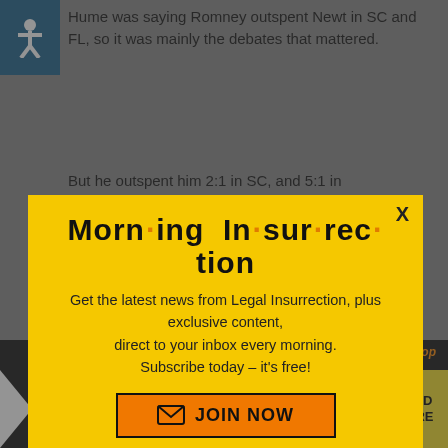Hume was saying Romney outspent Newt in SC and FL, so it was mainly the debates that mattered.
But he outspent him 2:1 in SC, and 5:1 in
[Figure (infographic): Morning Insurrection newsletter signup modal popup with yellow background. Title reads 'Morn·ing In·sur·rec·tion' in bold black text with orange bullet dots. Body text: 'Get the latest news from Legal Insurrection, plus exclusive content, direct to your inbox every morning. Subscribe today – it's free!' Orange JOIN NOW button with envelope icon. X close button in top right corner.]
mitt, that was actually against that movement.
[Figure (infographic): Bottom advertisement banner: THE PERSPECTIVE / EVICTIE mirrored logo, teal background with 'SEE WHAT YOU'RE MISSING' text, yellow READ MORE button on the right.]